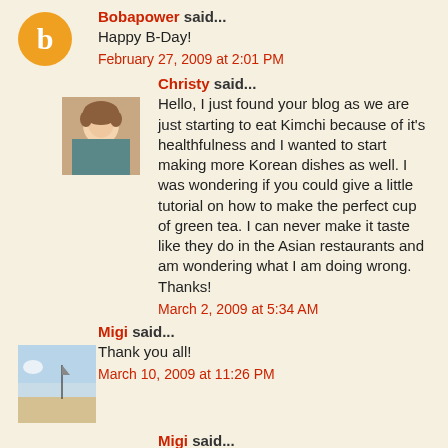Bobapower said...
Happy B-Day!
February 27, 2009 at 2:01 PM
Christy said...
Hello, I just found your blog as we are just starting to eat Kimchi because of it's healthfulness and I wanted to start making more Korean dishes as well. I was wondering if you could give a little tutorial on how to make the perfect cup of green tea. I can never make it taste like they do in the Asian restaurants and am wondering what I am doing wrong. Thanks!
March 2, 2009 at 5:34 AM
Migi said...
Thank you all!
March 10, 2009 at 11:26 PM
Migi said...
Hi, C&C -